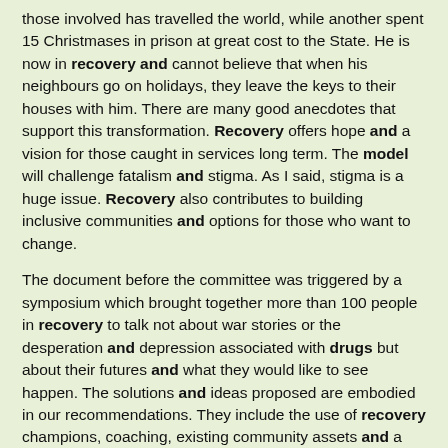those involved has travelled the world, while another spent 15 Christmases in prison at great cost to the State. He is now in recovery and cannot believe that when his neighbours go on holidays, they leave the keys to their houses with him. There are many good anecdotes that support this transformation. Recovery offers hope and a vision for those caught in services long term. The model will challenge fatalism and stigma. As I said, stigma is a huge issue. Recovery also contributes to building inclusive communities and options for those who want to change.
The document before the committee was triggered by a symposium which brought together more than 100 people in recovery to talk not about war stories or the desperation and depression associated with drugs but about their futures and what they would like to see happen. The solutions and ideas proposed are embodied in our recommendations. They include the use of recovery champions, coaching, existing community assets and a reconfiguration of some services to ensure they will be more holistic and outcome focused. The emphasis is on solutions. The desired outcome of today's meeting and as a result of the document is that recovery will become a central plank of the drugs strategy review which is due for completion next year. As I said, the report reflects stakeholders' views and their principles, case studies, workshops and literature on recovery.
I will be happy to answer questions members may have.